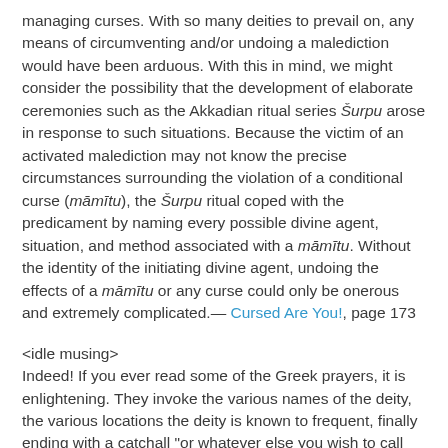managing curses. With so many deities to prevail on, any means of circumventing and/or undoing a malediction would have been arduous. With this in mind, we might consider the possibility that the development of elaborate ceremonies such as the Akkadian ritual series Šurpu arose in response to such situations. Because the victim of an activated malediction may not know the precise circumstances surrounding the violation of a conditional curse (māmītu), the Šurpu ritual coped with the predicament by naming every possible divine agent, situation, and method associated with a māmītu. Without the identity of the initiating divine agent, undoing the effects of a māmītu or any curse could only be onerous and extremely complicated.— Cursed Are You!, page 173
<idle musing>
Indeed! If you ever read some of the Greek prayers, it is enlightening. They invoke the various names of the deity, the various locations the deity is known to frequent, finally ending with a catchall "or whatever else you wish to call yourself wherever you may be..."